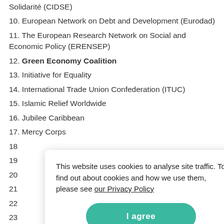Solidarité (CIDSE)
10. European Network on Debt and Development (Eurodad)
11. The European Research Network on Social and Economic Policy (ERENSEP)
12. Green Economy Coalition
13. Initiative for Equality
14. International Trade Union Confederation (ITUC)
15. Islamic Relief Worldwide
16. Jubilee Caribbean
17. Mercy Corps
18
19
20
21
22
23
24
25
26. 350.org
This website uses cookies to analyse site traffic. To find out about cookies and how we use them, please see our Privacy Policy
I agree